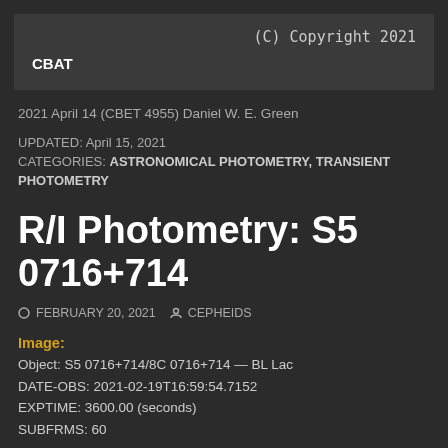(C) Copyright 2021 CBAT
2021 April 14 (CBET 4955) Daniel W. E. Green
UPDATED: April 15, 2021
CATEGORIES: ASTRONOMICAL PHOTOMETRY, TRANSIENT PHOTOMETRY
R/I Photometry: S5 0716+714
FEBRUARY 20, 2021   CEPHEIDS
Image:
Object: S5 0716+714/8C 0716+714 — BL Lac
DATE-OBS: 2021-02-19T16:59:54.7152
EXPTIME: 3600.00 (seconds)
SUBFRMS: 60